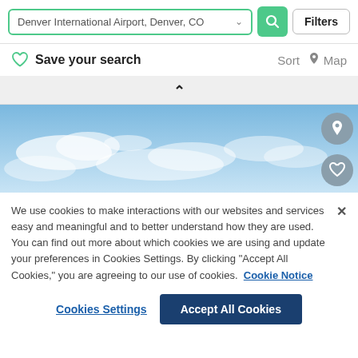[Figure (screenshot): Search bar with 'Denver International Airport, Denver, CO' text, a green search button, and a Filters button]
Save your search
Sort   Map
[Figure (photo): Blue sky with clouds banner image with map pin and heart icon circles on the right]
We use cookies to make interactions with our websites and services easy and meaningful and to better understand how they are used. You can find out more about which cookies we are using and update your preferences in Cookies Settings. By clicking "Accept All Cookies," you are agreeing to our use of cookies.  Cookie Notice
Cookies Settings
Accept All Cookies